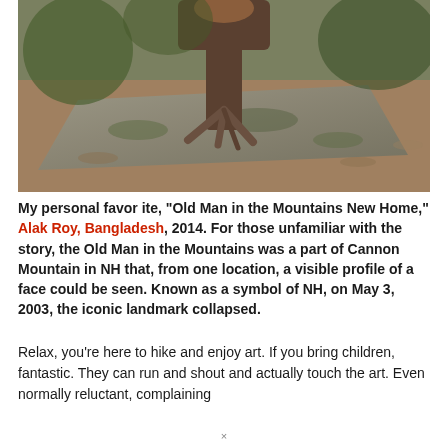[Figure (photo): Outdoor photo showing a stone slab on the ground with tree roots visible, surrounded by dirt and leaves in a forested setting. A brown animal (possibly a small monkey or similar) is partially visible at the top.]
My personal favorite, “Old Man in the Mountains New Home,” Alak Roy, Bangladesh, 2014. For those unfamiliar with the story, the Old Man in the Mountains was a part of Cannon Mountain in NH that, from one location, a visible profile of a face could be seen. Known as a symbol of NH, on May 3, 2003, the iconic landmark collapsed.
Relax, you’re here to hike and enjoy art. If you bring children, fantastic. They can run and shout and actually touch the art. Even normally reluctant, complaining